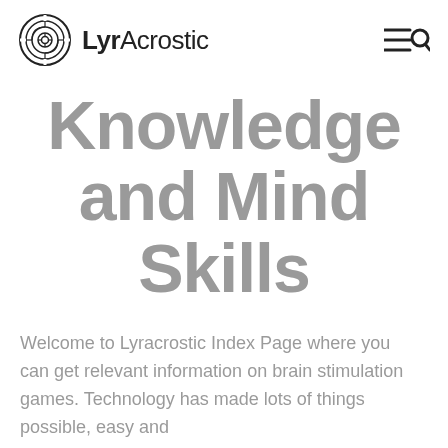LyrAcrostic
Knowledge and Mind Skills
Welcome to Lyracrostic Index Page where you can get relevant information on brain stimulation games. Technology has made lots of things possible, easy and